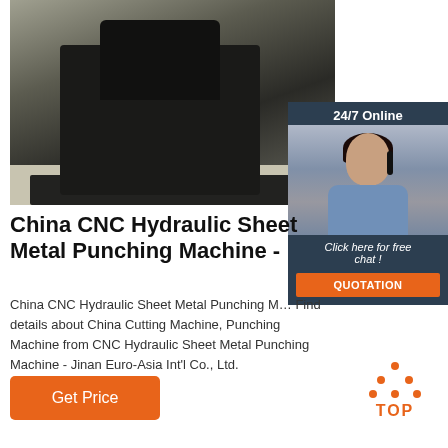[Figure (photo): Photo of a CNC Hydraulic Sheet Metal Punching Machine, a large black industrial machine sitting on a concrete floor in a factory or outdoor industrial setting]
[Figure (infographic): 24/7 Online customer service widget showing a smiling woman with a headset, a 'Click here for free chat!' message, and an orange QUOTATION button]
China CNC Hydraulic Sheet Metal Punching Machine -
China CNC Hydraulic Sheet Metal Punching Machine, Find details about China Cutting Machine, Punching Machine from CNC Hydraulic Sheet Metal Punching Machine - Jinan Euro-Asia Int'l Co., Ltd.
[Figure (infographic): Orange 'Get Price' button]
[Figure (infographic): Orange TOP icon with dots arranged in a triangle above the word TOP]